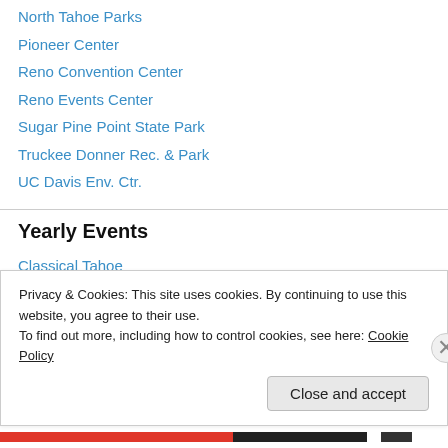North Tahoe Parks
Pioneer Center
Reno Convention Center
Reno Events Center
Sugar Pine Point State Park
Truckee Donner Rec. & Park
UC Davis Env. Ctr.
Yearly Events
Classical Tahoe
Hot August Nights
Lake of the Sky Garden Tour
Privacy & Cookies: This site uses cookies. By continuing to use this website, you agree to their use.
To find out more, including how to control cookies, see here: Cookie Policy
Close and accept